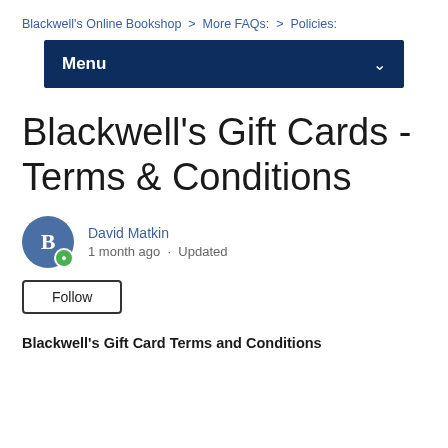Blackwell's Online Bookshop  >  More FAQs:  >  Policies:
Menu
Blackwell's Gift Cards - Terms & Conditions
David Matkin
1 month ago · Updated
Follow
Blackwell's Gift Card Terms and Conditions